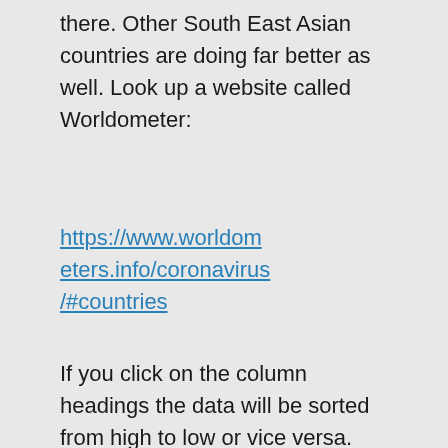there. Other South East Asian countries are doing far better as well. Look up a website called Worldometer:
https://www.worldometers.info/coronavirus/#countries
If you click on the column headings the data will be sorted from high to low or vice versa.
As for the vaccines,